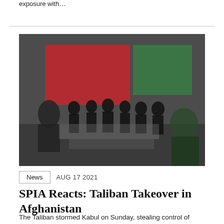exposure with…
[Figure (photo): Stylized black-and-white halftone photo of a group of people overlaid with blocks of red and green color, resembling the Afghan flag colors]
News   AUG 17 2021
SPIA Reacts: Taliban Takeover in Afghanistan
The Taliban stormed Kabul on Sunday, stealing control of